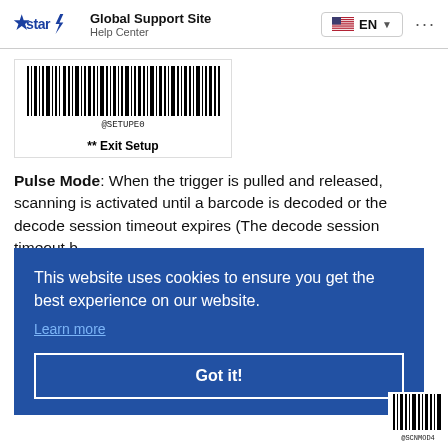Global Support Site – Help Center
[Figure (other): Barcode labeled @SETUPE0 with caption '** Exit Setup']
Pulse Mode: When the trigger is pulled and released, scanning is activated until a barcode is decoded or the decode session timeout expires (The decode session timeout b...
This website uses cookies to ensure you get the best experience on our website. Learn more
[Figure (other): Partial barcode at bottom right labeled @SCNMOD4]